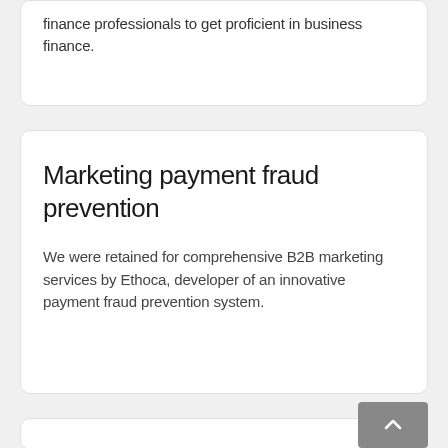finance professionals to get proficient in business finance.
Marketing payment fraud prevention
We were retained for comprehensive B2B marketing services by Ethoca, developer of an innovative payment fraud prevention system.